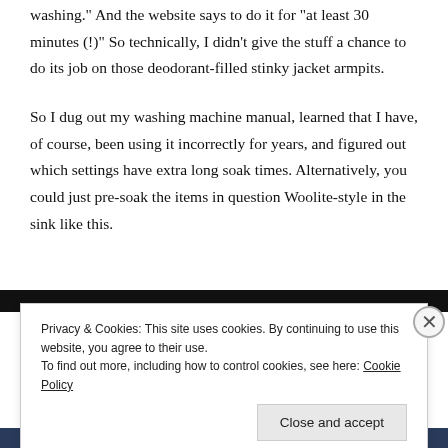washing." And the website says to do it for "at least 30 minutes (!)" So technically, I didn't give the stuff a chance to do its job on those deodorant-filled stinky jacket armpits.
So I dug out my washing machine manual, learned that I have, of course, been using it incorrectly for years, and figured out which settings have extra long soak times. Alternatively, you could just pre-soak the items in question Woolite-style in the sink like this.
[Figure (photo): Dark image strip partially visible at top, with bottom strip showing navy blue color]
Privacy & Cookies: This site uses cookies. By continuing to use this website, you agree to their use.
To find out more, including how to control cookies, see here: Cookie Policy
Close and accept